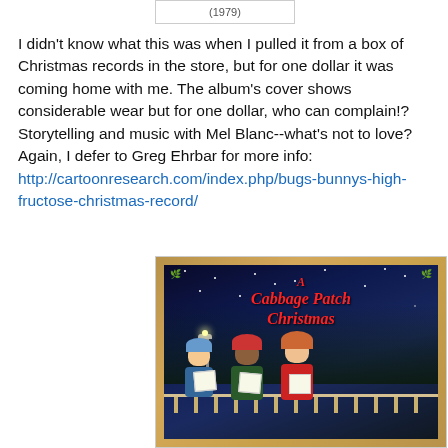[Figure (other): Partial view of album art label showing (1979)]
I didn't know what this was when I pulled it from a box of Christmas records in the store, but for one dollar it was coming home with me. The album's cover shows considerable wear but for one dollar, who can complain!? Storytelling and music with Mel Blanc--what's not to love? Again, I defer to Greg Ehrbar for more info: http://cartoonresearch.com/index.php/bugs-bunnys-high-fructose-christmas-record/
[Figure (illustration): Album cover of 'A Cabbage Patch Christmas' showing Cabbage Patch doll characters in a winter night scene with snow, trees, and a street lamp, holding song sheets. Red title text reads 'A Cabbage Patch Christmas' with a wooden-frame style border.]